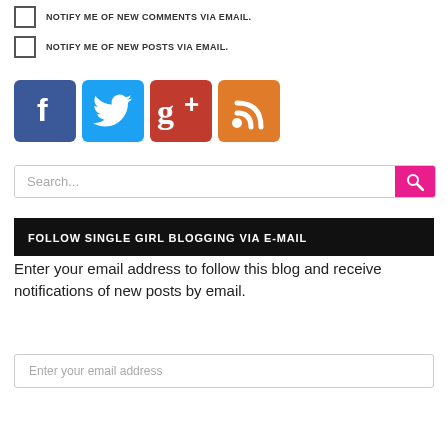NOTIFY ME OF NEW COMMENTS VIA EMAIL.
NOTIFY ME OF NEW POSTS VIA EMAIL.
[Figure (illustration): Four social media icon buttons: Facebook (blue), Twitter (cyan), Google+ (red), RSS feed (orange)]
Search...
FOLLOW SINGLE GIRL BLOGGING VIA E-MAIL
Enter your email address to follow this blog and receive notifications of new posts by email.
Enter your email address